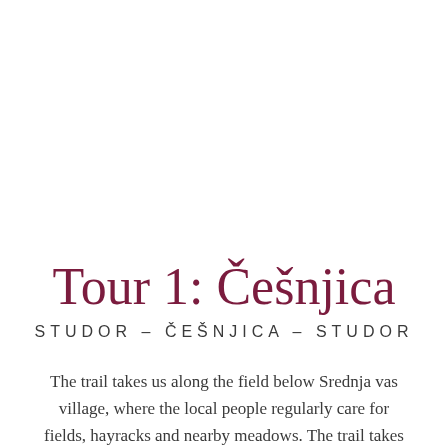Tour 1: Češnjica
STUDOR – ČEŠNJICA – STUDOR
The trail takes us along the field below Srednja vas village, where the local people regularly care for fields, hayracks and nearby meadows. The trail takes us past the Gorenjska ski center to Češnjica village where we…